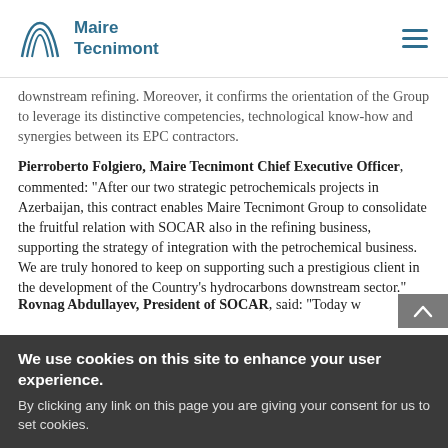Maire Tecnimont
downstream refining. Moreover, it confirms the orientation of the Group to leverage its distinctive competencies, technological know-how and synergies between its EPC contractors.
Pierroberto Folgiero, Maire Tecnimont Chief Executive Officer, commented: “After our two strategic petrochemicals projects in Azerbaijan, this contract enables Maire Tecnimont Group to consolidate the fruitful relation with SOCAR also in the refining business, supporting the strategy of integration with the petrochemical business. We are truly honored to keep on supporting such a prestigious client in the development of the Country’s hydrocarbons downstream sector.”
Rovnag Abdullayev, President of SOCAR, said: “Today w…
We use cookies on this site to enhance your user experience. By clicking any link on this page you are giving your consent for us to set cookies.